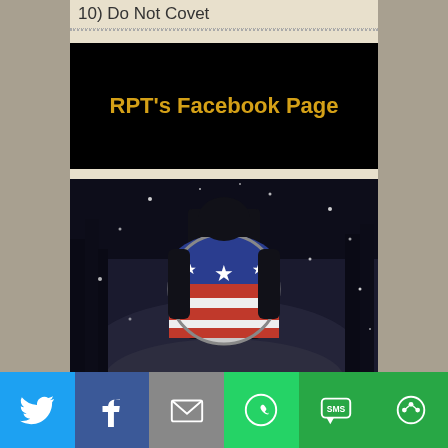10) Do Not Covet
[Figure (illustration): Black banner with gold/yellow text reading "RPT's Facebook Page"]
[Figure (photo): A figure wearing a Captain America-style shield on their back, standing in a dark snowy scene. Text overlay at bottom reads 'RPT on Facebook' in yellow italic script.]
[Figure (infographic): Social sharing bar at bottom with buttons for Twitter (blue), Facebook (dark blue), Email (gray), WhatsApp (green), SMS (green), and More (green)]